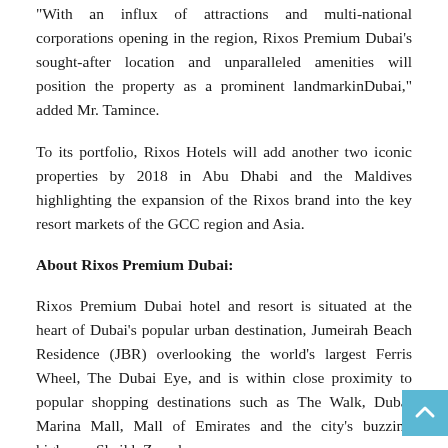"With an influx of attractions and multi-national corporations opening in the region, Rixos Premium Dubai's sought-after location and unparalleled amenities will position the property as a prominent landmarkinDubai," added Mr. Tamince.
To its portfolio, Rixos Hotels will add another two iconic properties by 2018 in Abu Dhabi and the Maldives highlighting the expansion of the Rixos brand into the key resort markets of the GCC region and Asia.
About Rixos Premium Dubai:
Rixos Premium Dubai hotel and resort is situated at the heart of Dubai's popular urban destination, Jumeirah Beach Residence (JBR) overlooking the world's largest Ferris Wheel, The Dubai Eye, and is within close proximity to popular shopping destinations such as The Walk, Dubai Marina Mall, Mall of Emirates and the city's buzzing highway, Sheikh Zayed